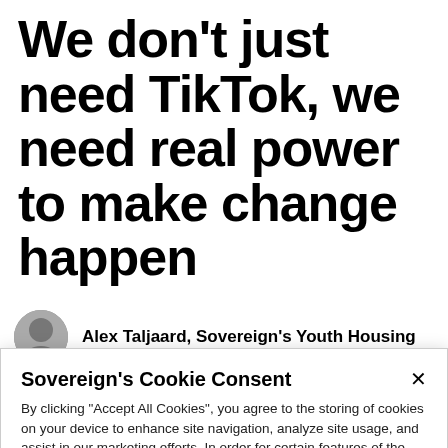We don't just need TikTok, we need real power to make change happen
Alex Taljaard, Sovereign's Youth Housing
Sovereign's Cookie Consent

By clicking "Accept All Cookies", you agree to the storing of cookies on your device to enhance site navigation, analyze site usage, and assist in our marketing efforts. In order for certain features of the site to work, such as the accessibility tool ReciteMe, functional cookies must be enabled. Our Privacy Policy